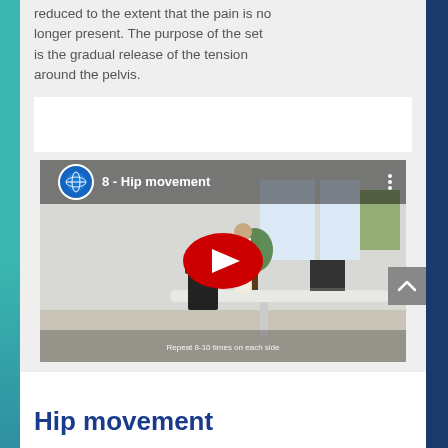reduced to the extent that the pain is no longer present. The purpose of the set is the gradual release of the tension around the pelvis.
[Figure (screenshot): YouTube video thumbnail showing '8 - Hip movement' with a YouTube play button overlay. The video shows an office room with a person standing by a desk. Subtitle reads 'Repeat 8-10 times on each side'.]
Hip movement